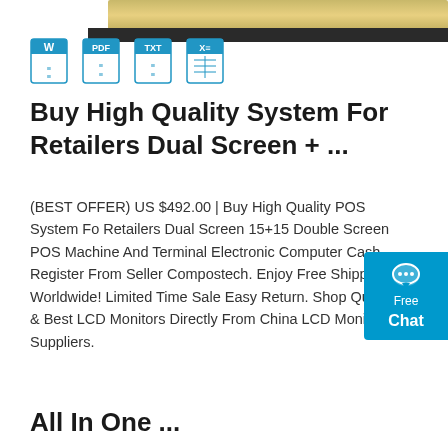[Figure (screenshot): Top portion showing a document scanner device with a book/document, along with four file format icons: Word (W), PDF, TXT, and Excel (XE)]
Buy High Quality System For Retailers Dual Screen + ...
(BEST OFFER) US $492.00 | Buy High Quality POS System For Retailers Dual Screen 15+15 Double Screen POS Machine And Terminal Electronic Computer Cash Register From Seller Compostech. Enjoy Free Shipping Worldwide! Limited Time Sale Easy Return. Shop Quality & Best LCD Monitors Directly From China LCD Monitors Suppliers.
[Figure (other): Free Chat button/widget in blue on the right side]
Get Price
All In One ...